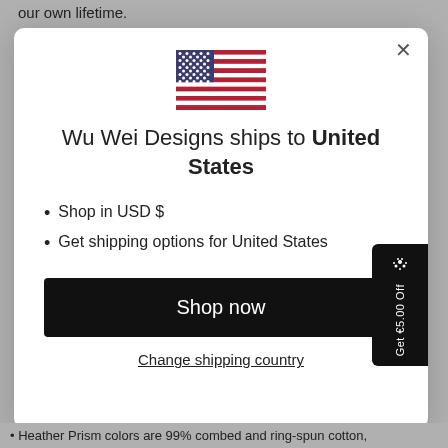our own lifetime.
[Figure (screenshot): A modal dialog for Wu Wei Designs shipping location with a US flag, title, bullet list, shop now button, and change shipping country link]
Wu Wei Designs ships to United States
Shop in USD $
Get shipping options for United States
Shop now
Change shipping country
[Figure (infographic): Side promo tab: confetti icon and text 'Get €5.00 Off']
• Heather Prism colors are 99% combed and ring-spun cotton,